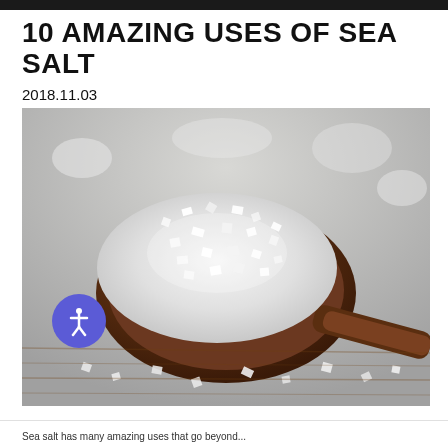10 AMAZING USES OF SEA SALT
2018.11.03
[Figure (photo): A wooden spoon heaped with coarse white sea salt crystals, set on a wooden surface scattered with additional salt crystals, close-up photo.]
Sea salt has many amazing uses that go beyond...